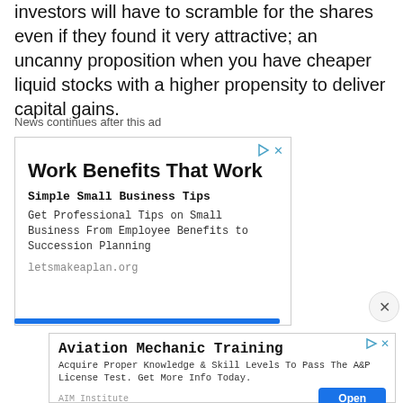investors will have to scramble for the shares even if they found it very attractive; an uncanny proposition when you have cheaper liquid stocks with a higher propensity to deliver capital gains.
News continues after this ad
[Figure (screenshot): Advertisement box: Work Benefits That Work - Simple Small Business Tips. Get Professional Tips on Small Business From Employee Benefits to Succession Planning. letsmakeaplan.org]
[Figure (screenshot): Advertisement box: Aviation Mechanic Training - Acquire Proper Knowledge & Skill Levels To Pass The A&P License Test. Get More Info Today. AIM Institute. Open button.]